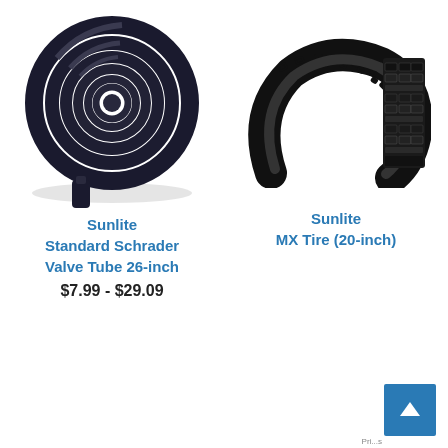[Figure (photo): Sunlite Standard Schrader Valve Tube 26-inch — coiled black bicycle inner tube with valve stem]
Sunlite
Standard Schrader
Valve Tube 26-inch
$7.99 - $29.09
[Figure (photo): Sunlite MX Tire (20-inch) — black knobby bicycle tire shown from two angles: side profile and cross section]
Sunlite
MX Tire (20-inch)